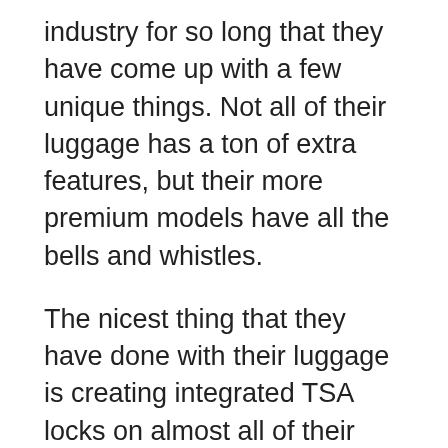industry for so long that they have come up with a few unique things. Not all of their luggage has a ton of extra features, but their more premium models have all the bells and whistles.
The nicest thing that they have done with their luggage is creating integrated TSA locks on almost all of their hard-sided luggage and even some of their soft-sided luggage.
Some of these locks even have cables that can go through all of the zippers to make sure all pockets are secure instead of only the main compartment.
Other features you can find on some premium models are charging cords that go from the outside